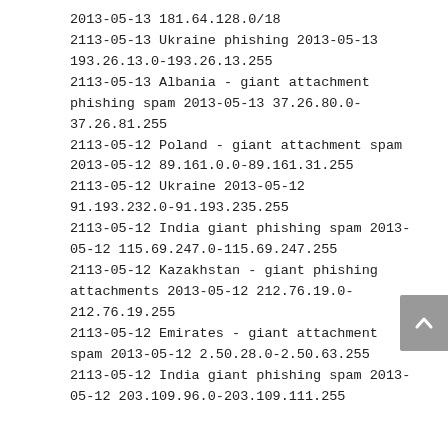2013-05-13 181.64.128.0/18
2113-05-13 Ukraine phishing 2013-05-13 193.26.13.0-193.26.13.255
2113-05-13 Albania - giant attachment phishing spam 2013-05-13 37.26.80.0-37.26.81.255
2113-05-12 Poland - giant attachment spam 2013-05-12 89.161.0.0-89.161.31.255
2113-05-12 Ukraine 2013-05-12 91.193.232.0-91.193.235.255
2113-05-12 India giant phishing spam 2013-05-12 115.69.247.0-115.69.247.255
2113-05-12 Kazakhstan - giant phishing attachments 2013-05-12 212.76.19.0-212.76.19.255
2113-05-12 Emirates - giant attachment spam 2013-05-12 2.50.28.0-2.50.63.255
2113-05-12 India giant phishing spam 2013-05-12 203.109.96.0-203.109.111.255